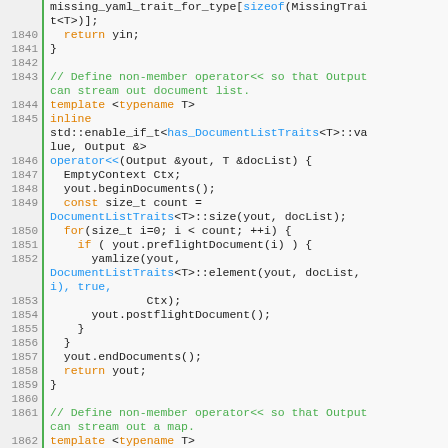[Figure (screenshot): Source code listing in C++ with syntax highlighting, showing lines 1838-1863. Line numbers on the left with green vertical bar separator. Keywords in orange, comments in green, identifiers/types in blue, plain code in dark.]